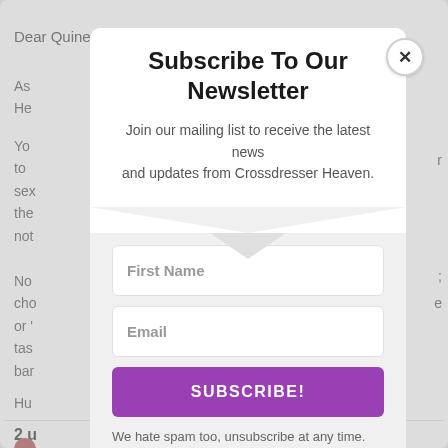Dear Quinetta.
As
He
Yo
to
se>
the
not
No
cho
or '
tas
ba
Hu
2 u
Subscribe To Our Newsletter
Join our mailing list to receive the latest news and updates from Crossdresser Heaven.
First Name
Email
SUBSCRIBE!
We hate spam too, unsubscribe at any time.